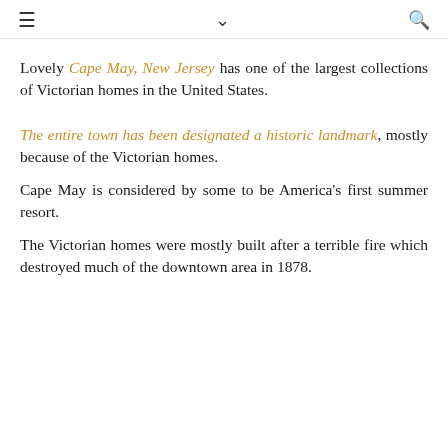≡  ∨  🔍
Lovely Cape May, New Jersey has one of the largest collections of Victorian homes in the United States.
The entire town has been designated a historic landmark, mostly because of the Victorian homes.
Cape May is considered by some to be America's first summer resort.
The Victorian homes were mostly built after a terrible fire which destroyed much of the downtown area in 1878.